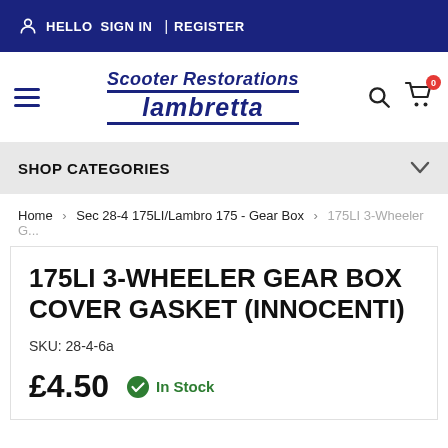HELLO  SIGN IN | REGISTER
[Figure (logo): Scooter Restorations Lambretta logo with hamburger menu, search icon, and cart icon]
SHOP CATEGORIES
Home > Sec 28-4 175LI/Lambro 175 - Gear Box > 175LI 3-Wheeler G...
175LI 3-WHEELER GEAR BOX COVER GASKET (INNOCENTI)
SKU: 28-4-6a
£4.50  In Stock